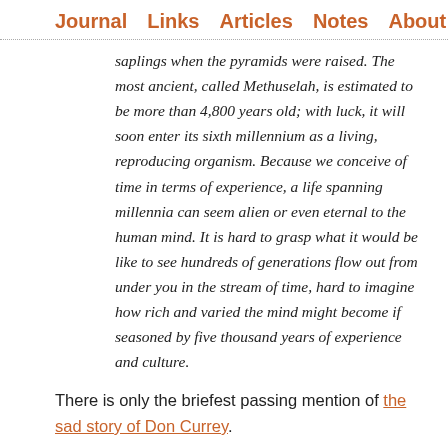Journal   Links   Articles   Notes   About
saplings when the pyramids were raised. The most ancient, called Methuselah, is estimated to be more than 4,800 years old; with luck, it will soon enter its sixth millennium as a living, reproducing organism. Because we conceive of time in terms of experience, a life spanning millennia can seem alien or even eternal to the human mind. It is hard to grasp what it would be like to see hundreds of generations flow out from under you in the stream of time, hard to imagine how rich and varied the mind might become if seasoned by five thousand years of experience and culture.
There is only the briefest passing mention of the sad story of Don Currey.
9:37am